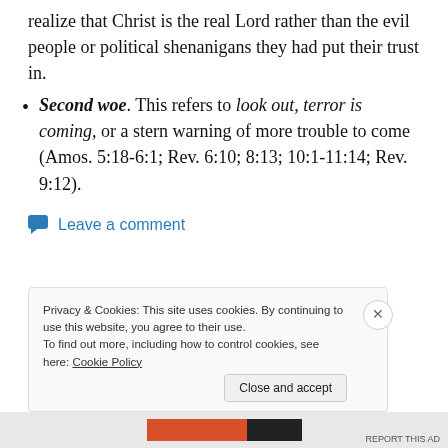realize that Christ is the real Lord rather than the evil people or political shenanigans they had put their trust in.
Second woe. This refers to look out, terror is coming, or a stern warning of more trouble to come (Amos. 5:18-6:1; Rev. 6:10; 8:13; 10:1-11:14; Rev. 9:12).
Leave a comment
Privacy & Cookies: This site uses cookies. By continuing to use this website, you agree to their use.
To find out more, including how to control cookies, see here: Cookie Policy
Close and accept